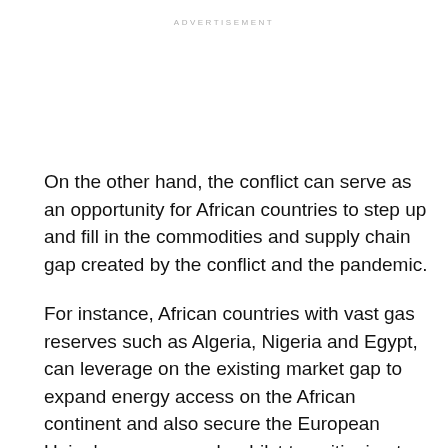ADVERTISEMENT
On the other hand, the conflict can serve as an opportunity for African countries to step up and fill in the commodities and supply chain gap created by the conflict and the pandemic.
For instance, African countries with vast gas reserves such as Algeria, Nigeria and Egypt, can leverage on the existing market gap to expand energy access on the African continent and also secure the European Union's energy supply whilst transitioning to a low-carbon economy.